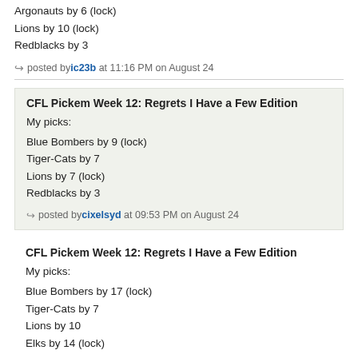Argonauts by 6 (lock)
Lions by 10 (lock)
Redblacks by 3
posted by ic23b at 11:16 PM on August 24
CFL Pickem Week 12: Regrets I Have a Few Edition
My picks:
Blue Bombers by 9 (lock)
Tiger-Cats by 7
Lions by 7 (lock)
Redblacks by 3
posted by cixelsyd at 09:53 PM on August 24
CFL Pickem Week 12: Regrets I Have a Few Edition
My picks:
Blue Bombers by 17 (lock)
Tiger-Cats by 7
Lions by 10
Elks by 14 (lock)
UNT great Mason Fine finally got some meaningful time for the Riders. But